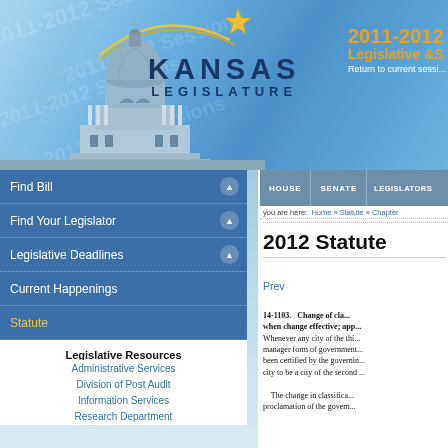[Figure (screenshot): Kansas Legislature website header with capitol building photo, blue sky background, 2011-2012 Legislative Session watermark, gold arc and star decoration, KANSAS LEGISLATURE logo]
2011-2012 Legislative S... | Return to current sessi...
HOUSE | SENATE | LEGISLATORS
you are here: Home » Statute » Chapter
2012 Statute
Prev
Find Bill
Find Your Legislator
Legislative Deadlines
Current Happenings
Statute
Legislative Resources
Administrative Services
Division of Post Audit
Information Services
Research Department
14-1103. Change of cla... when change effective; app... Whenever any city of the thi... manager form of government... been certified by the governin... city to be a city of the second... The change in classifica... proclamation of the govern...